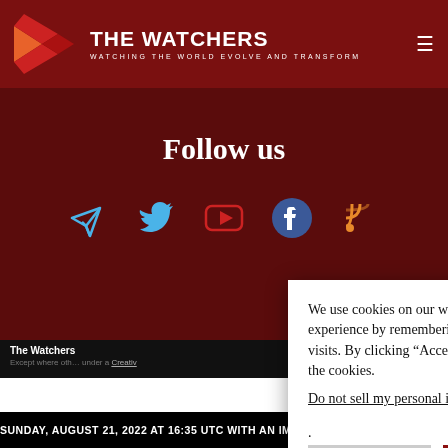THE WATCHERS — WATCHING THE WORLD EVOLVE AND TRANSFORM
Follow us
[Figure (illustration): Social media icons: Telegram (blue paper plane), Twitter (blue bird), YouTube (red play button), Facebook (blue circle with f), RSS (orange signal icon)]
We use cookies on our website to give you the most relevant experience by remembering your preferences and repeat visits. By clicking “Accept”, you consent to the use of ALL the cookies.
Do not sell my personal information.
The Watchers
Except where otherwise noted, content on this site is licensed under a Creative
SUNDAY, AUGUST 21, 2022 AT 16:35 UTC WITH AN IMPACT E…